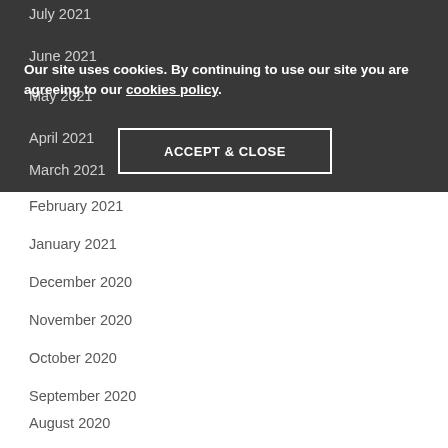July 2021
June 2021
May 2021
April 2021
March 2021
Our site uses cookies. By continuing to use our site you are agreeing to our cookies policy.
February 2021
January 2021
December 2020
November 2020
October 2020
September 2020
August 2020
July 2020